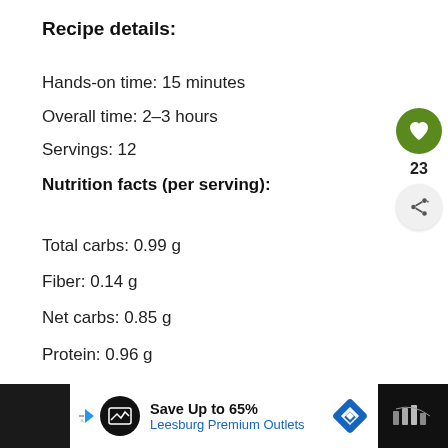Recipe details:
Hands-on time: 15 minutes
Overall time: 2–3 hours
Servings: 12
Nutrition facts (per serving):
Total carbs: 0.99 g
Fiber: 0.14 g
Net carbs: 0.85 g
Protein: 0.96 g
Fat: 7.4 g
[Figure (other): Green circular heart/like button with count 23 below, and a share button below that]
[Figure (other): Advertisement banner: Save Up to 65% Leesburg Premium Outlets with logo and navigation arrow icon]